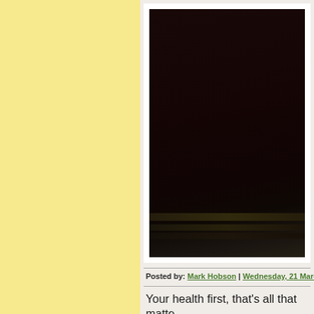[Figure (photo): Dark, almost black photograph — appears to show a dark room or surface with subtle diagonal stripes or architectural detail at bottom]
Posted by: Mark Hobson | Wednesday, 21 March 2018
Your health first, that's all that matte...